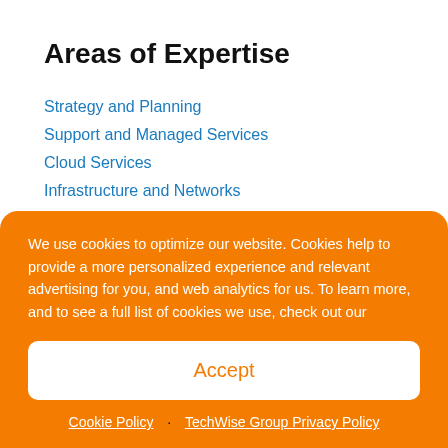Areas of Expertise
Strategy and Planning
Support and Managed Services
Cloud Services
Infrastructure and Networks
Business Productivity Solutions
We use cookies to optimize our website. Cookies help to provide a more personalized experience and relevant advertising for you, and web analytics for us. To learn more, and to see a full list of cookies we use, check out our
Accept
Cookie Policy · TechWise Group Privacy Policy